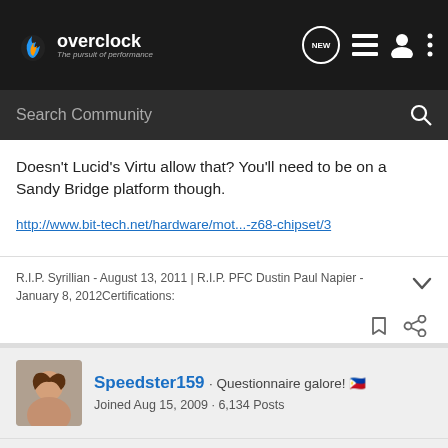overclock.net - The pursuit of performance
Doesn't Lucid's Virtu allow that? You'll need to be on a Sandy Bridge platform though.
http://www.bit-tech.net/hardware/mot...-z68-chipset/3
R.I.P. Syrillian - August 13, 2011 | R.I.P. PFC Dustin Paul Napier - January 8, 2012Certifications:
Speedster159 · Questionnaire galore! 🇵🇭
Joined Aug 15, 2009 · 6,134 Posts
Discussion Starter · #4 · Oct 16, 2011